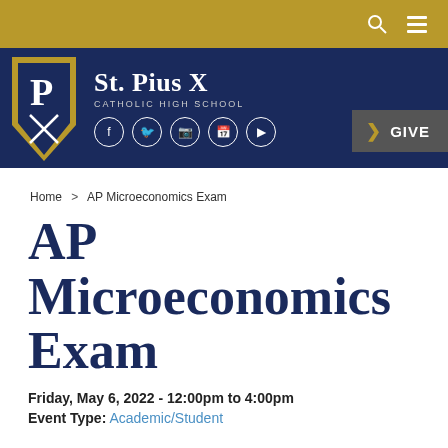[Figure (logo): St. Pius X Catholic High School logo with gold and navy shield, school name, and social media icons]
Home > AP Microeconomics Exam
AP Microeconomics Exam
Friday, May 6, 2022 - 12:00pm to 4:00pm
Event Type: Academic/Student